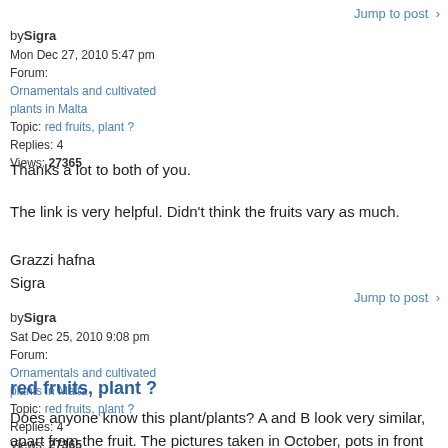Jump to post >
by Sigra
Mon Dec 27, 2010 5:47 pm
Forum:
Ornamentals and cultivated plants in Malta
Topic: red fruits, plant ?
Replies: 4
Views: 27365
Thanks a lot to both of you.
The link is very helpful. Didn't think the fruits vary as much.
Grazzi hafna
Sigra
Jump to post >
by Sigra
Sat Dec 25, 2010 9:08 pm
Forum:
Ornamentals and cultivated plants in Malta
Topic: red fruits, plant ?
Replies: 4
Views: 27365
red fruits, plant ?
Does anyone know this plant/plants? A and B look very similar, apart from the fruit. The pictures taken in October, pots in front of houses in San Giljan.